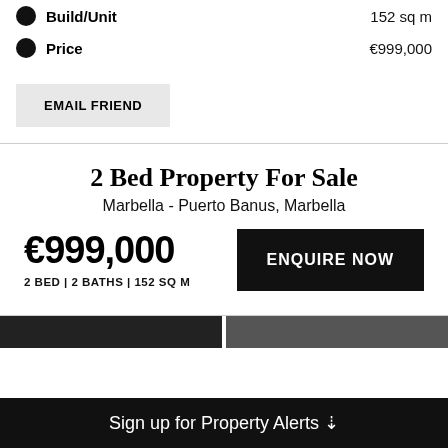Build/Unit   152 sq m
Price   €999,000
EMAIL FRIEND
2 Bed Property For Sale
Marbella - Puerto Banus, Marbella
€999,000
2 BED | 2 BATHS | 152 SQ M
ENQUIRE NOW
Sign up for Property Alerts ↓